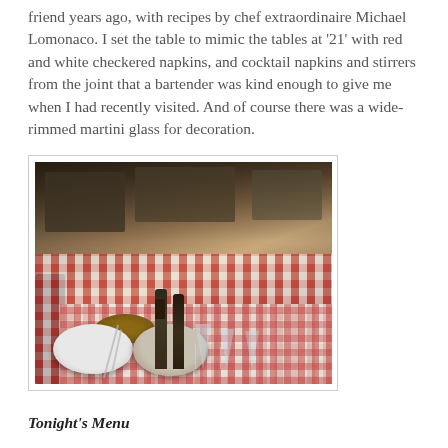friend years ago, with recipes by chef extraordinaire Michael Lomonaco. I set the table to mimic the tables at '21' with red and white checkered napkins, and cocktail napkins and stirrers from the joint that a bartender was kind enough to give me when I had recently visited. And of course there was a wide-rimmed martini glass for decoration.
[Figure (photo): A dining table set with red and white checkered napkins/tablecloth, wine glasses, plates, a wooden bowl, and wine bottles. The background shows a living room with furniture and shelves.]
Tonight's Menu
Chilled Relish Tray (celery, radishes and black olives)
Butter Lettuces with Peas & Shallot Champagne Vinaigrette
London Broil with Roasted Shallots